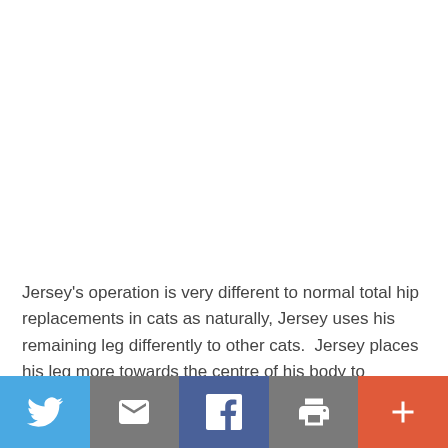Jersey's operation is very different to normal total hip replacements in cats as naturally, Jersey uses his remaining leg differently to other cats.  Jersey places his leg more towards the centre of his body to balance
[Figure (other): Social media sharing bar with Twitter, Email, Facebook, Print, and Plus buttons]